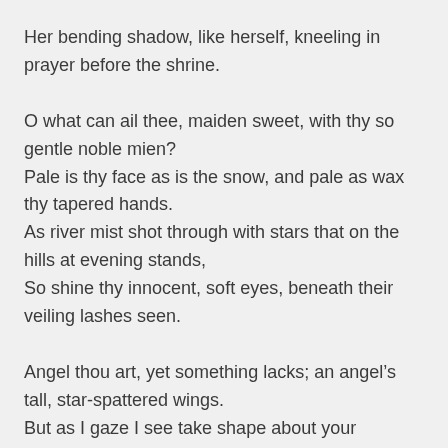Her bending shadow, like herself, kneeling in prayer before the shrine.
O what can ail thee, maiden sweet, with thy so gentle noble mien?
Pale is thy face as is the snow, and pale as wax thy tapered hands.
As river mist shot through with stars that on the hills at evening stands,
So shine thy innocent, soft eyes, beneath their veiling lashes seen.
Angel thou art, yet something lacks; an angel’s tall, star-spattered wings.
But as I gaze I see take shape about your shoulders flying lines;
What are they, trembling in the air? Whence come these feathery designs?
An angel’s pinion in the dusk towards the gate of h...